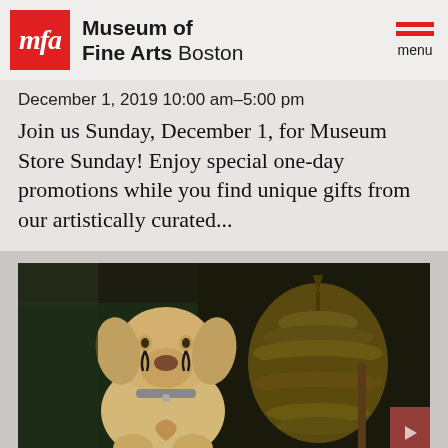[Figure (logo): Museum of Fine Arts Boston logo — red square with white italic 'mfa' text, beside the museum name in bold/light text]
December 1, 2019 10:00 am–5:00 pm
Join us Sunday, December 1, for Museum Store Sunday! Enjoy special one-day promotions while you find unique gifts from our artistically curated...
[Figure (photo): Oil painting or photo of a yellow Labrador dog sitting upright with painted teardrop markings around its eyes, next to a large straw beehive structure, in a dark barn-like setting]